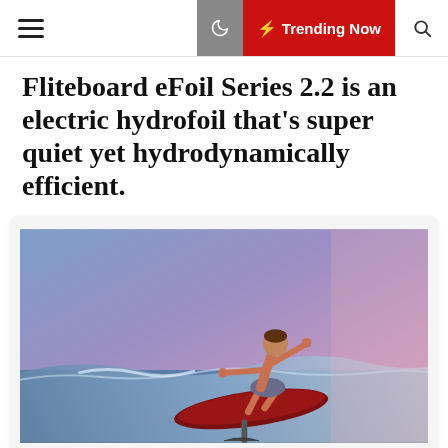☰ | 🌙 | ⚡ Trending Now | 🔍
Fliteboard eFoil Series 2.2 is an electric hydrofoil that's super quiet yet hydrodynamically efficient.
[Figure (photo): A person riding an electric hydrofoil surfboard above ocean waves, arms outstretched for balance, against a purple-blue sky with warm pink-purple tones. The board is dark red/maroon and visible below the rider with a foil mast extending into the water.]
Fliteboard eFoil Series 2.2